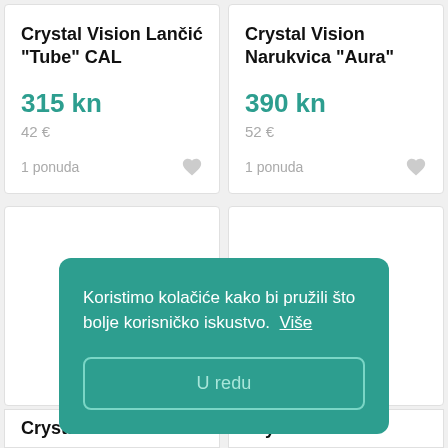Crystal Vision Lančić "Tube" CAL
315 kn
42 €
1 ponuda
Crystal Vision Narukvica "Aura"
390 kn
52 €
1 ponuda
Koristimo kolačiće kako bi pružili što bolje korisničko iskustvo.  Više
U redu
Crystal Vision
Crystal Vision